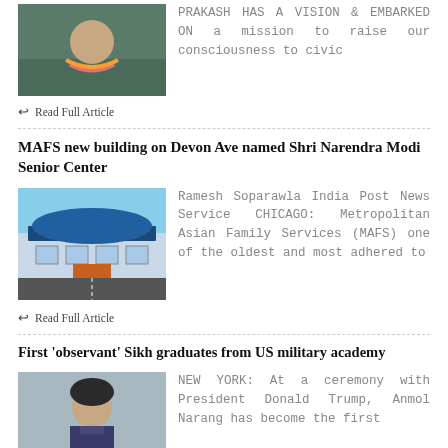[Figure (photo): Man wearing flower garland, likely outdoors near water]
PRAKASH HAS A VISION & EMBARKED ON a mission to raise our consciousness to civic
Read Full Article
MAFS new building on Devon Ave named Shri Narendra Modi Senior Center
[Figure (illustration): Architectural rendering of MAFS building on Devon Ave, a modern facility with arched roof and orange accent]
Ramesh Soparawla India Post News Service CHICAGO: Metropolitan Asian Family Services (MAFS) one of the oldest and most adhered to
Read Full Article
First 'observant' Sikh graduates from US military academy
[Figure (photo): Young Sikh woman, portrait style, partial view]
NEW YORK: At a ceremony with President Donald Trump, Anmol Narang has become the first